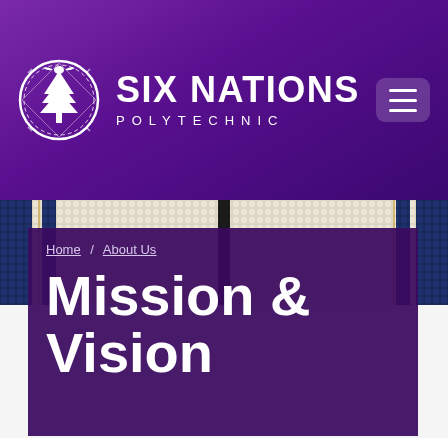SIX NATIONS POLYTECHNIC
[Figure (screenshot): Six Nations Polytechnic website header with purple gradient background, circular logo with tree/bird motif, site name 'SIX NATIONS POLYTECHNIC', and hamburger menu button]
[Figure (photo): Close-up photograph of a wampum belt showing white and navy blue beadwork pattern with vertical stripes]
Home / About Us
Mission & Vision
As many have already discovered, improving your sense of self, affirming your cultural identity and understanding Indigenous peoples provides a great